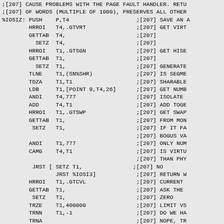Assembly source code listing with instructions and comments (;[207] annotations)